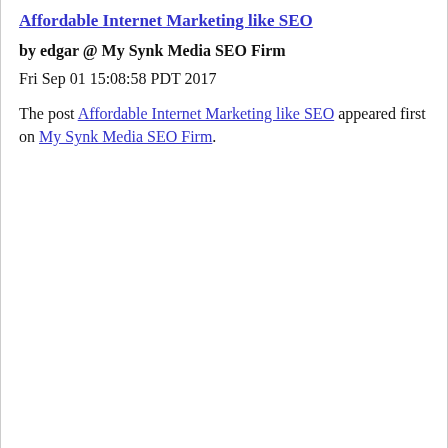Affordable Internet Marketing like SEO
by edgar @ My Synk Media SEO Firm
Fri Sep 01 15:08:58 PDT 2017
The post Affordable Internet Marketing like SEO appeared first on My Synk Media SEO Firm.